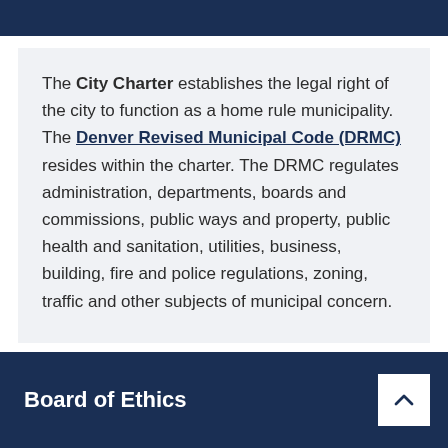The City Charter establishes the legal right of the city to function as a home rule municipality. The Denver Revised Municipal Code (DRMC) resides within the charter. The DRMC regulates administration, departments, boards and commissions, public ways and property, public health and sanitation, utilities, business, building, fire and police regulations, zoning, traffic and other subjects of municipal concern.
Board of Ethics